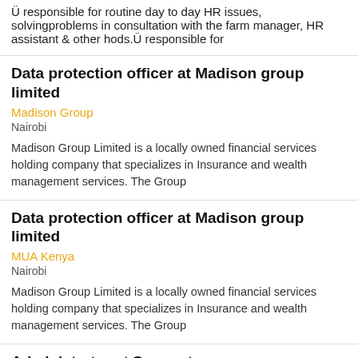Ü responsible for routine day to day HR issues, solvingproblems in consultation with the farm manager, HR assistant & other hods.Ü responsible for
Data protection officer at Madison group limited
Madison Group
Nairobi
Madison Group Limited is a locally owned financial services holding company that specializes in Insurance and wealth management services. The Group
Data protection officer at Madison group limited
MUA Kenya
Nairobi
Madison Group Limited is a locally owned financial services holding company that specializes in Insurance and wealth management services. The Group
Administrator at Syngenta
Syngenta
Nairobi
Syngenta is a leading agriculture company helping to improve global food security by enabling millions of farmers to make better use of available